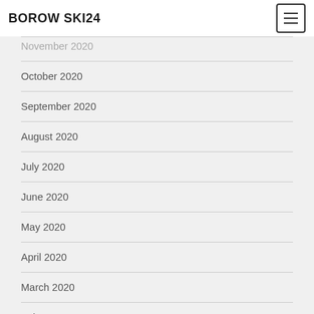BOROW SKI24
November 2020
October 2020
September 2020
August 2020
July 2020
June 2020
May 2020
April 2020
March 2020
February 2020
January 2020